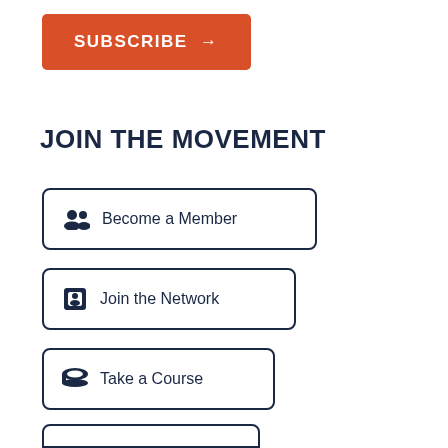[Figure (other): Orange Subscribe button with arrow]
JOIN THE MOVEMENT
Become a Member
Join the Network
Take a Course
(partially visible button)